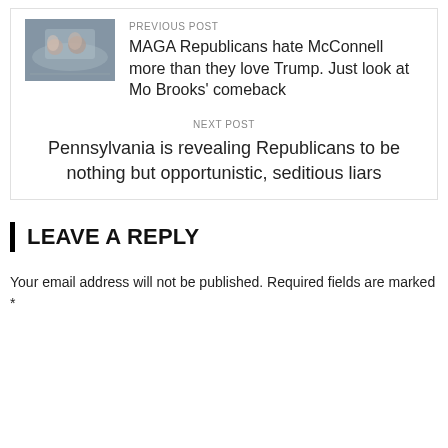[Figure (photo): Thumbnail photo of people at an outdoor rally or event]
PREVIOUS POST
MAGA Republicans hate McConnell more than they love Trump. Just look at Mo Brooks’ comeback
NEXT POST
Pennsylvania is revealing Republicans to be nothing but opportunistic, seditious liars
LEAVE A REPLY
Your email address will not be published. Required fields are marked *